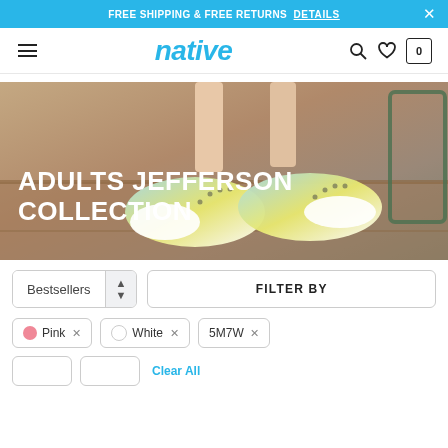FREE SHIPPING & FREE RETURNS DETAILS
[Figure (logo): Native Shoes logo and navigation bar with hamburger menu, search, wishlist, and cart icons]
[Figure (photo): Hero banner showing Adults Jefferson Collection colorful tie-dye sneakers on a patterned carpet background]
ADULTS JEFFERSON COLLECTION
Bestsellers | FILTER BY
Pink × | White × | 5M7W ×